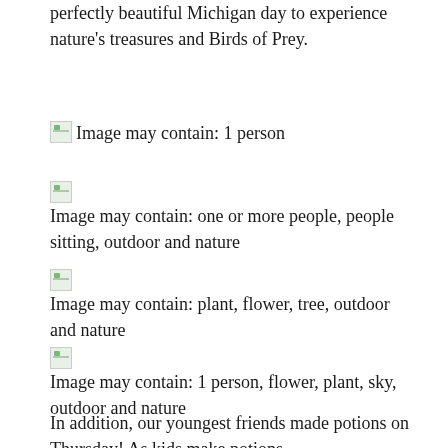perfectly beautiful Michigan day to experience nature's treasures and Birds of Prey.
[Figure (photo): Image may contain: 1 person]
[Figure (photo): Image may contain: one or more people, people sitting, outdoor and nature]
[Figure (photo): Image may contain: plant, flower, tree, outdoor and nature]
[Figure (photo): Image may contain: 1 person, flower, plant, sky, outdoor and nature]
In addition, our youngest friends made potions on Thursday! As kids make potions, they get to flex their sense of right and